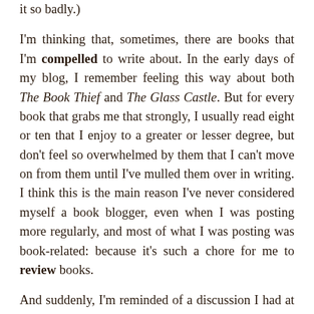it so badly.)
I'm thinking that, sometimes, there are books that I'm compelled to write about. In the early days of my blog, I remember feeling this way about both The Book Thief and The Glass Castle. But for every book that grabs me that strongly, I usually read eight or ten that I enjoy to a greater or lesser degree, but don't feel so overwhelmed by them that I can't move on from them until I've mulled them over in writing. I think this is the main reason I've never considered myself a book blogger, even when I was posting more regularly, and most of what I was posting was book-related: because it's such a chore for me to review books.
And suddenly, I'm reminded of a discussion I had at Smith with my advisor, Doug Patey. I was having a rough semester, and I was sitting in his office, probably getting